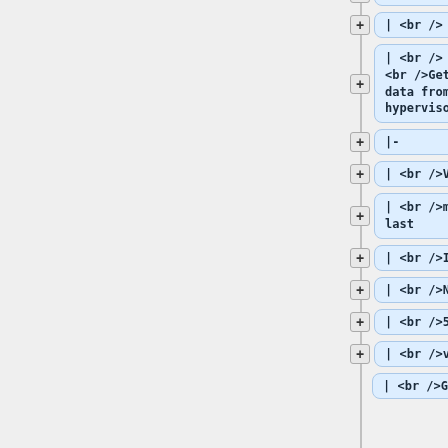[Figure (flowchart): A vertical list of collapsible tree nodes, each shown as a blue rounded-rectangle box with a plus (+) button on the left. The nodes contain code/markup text: '| <br />', '| <br />', '| <br /> <br />
<br />Gets the data from hypervisor', '|-', '| <br />Virt', '| <br />memory-last', '| <br />Int', '| <br />None', '| <br />5.8', '| <br />virt', '| <br />Gets'. The left portion of the page is a gray empty panel.]